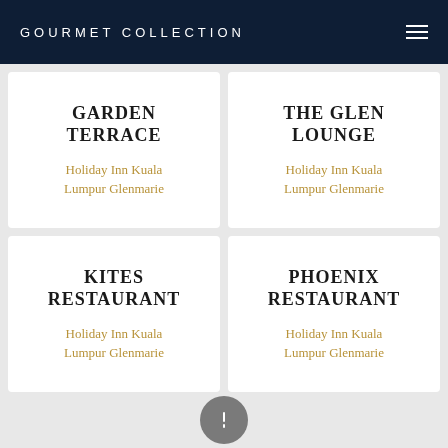GOURMET COLLECTION
GARDEN TERRACE
Holiday Inn Kuala Lumpur Glenmarie
THE GLEN LOUNGE
Holiday Inn Kuala Lumpur Glenmarie
KITES RESTAURANT
Holiday Inn Kuala Lumpur Glenmarie
PHOENIX RESTAURANT
Holiday Inn Kuala Lumpur Glenmarie